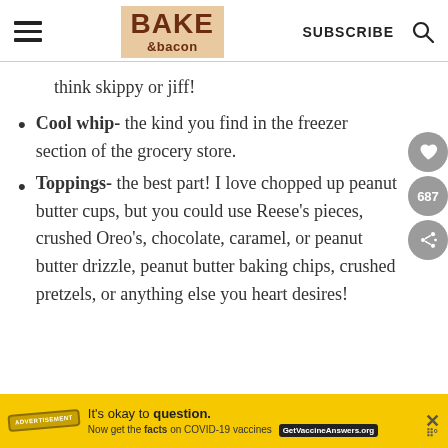BAKE &bacon | SUBSCRIBE
think skippy or jiff!
Cool whip- the kind you find in the freezer section of the grocery store.
Toppings- the best part! I love chopped up peanut butter cups, but you could use Reese's pieces, crushed Oreo's, chocolate, caramel, or peanut butter drizzle, peanut butter baking chips, crushed pretzels, or anything else you heart desires!
It's okay to question. Now get the facts on COVID-19 vaccines GetVaccineAnswers.org